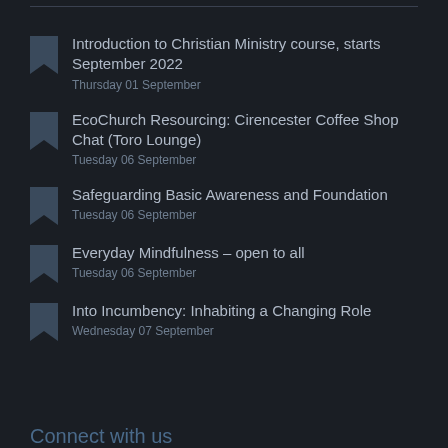Introduction to Christian Ministry course, starts September 2022
Thursday 01 September
EcoChurch Resourcing: Cirencester Coffee Shop Chat (Toro Lounge)
Tuesday 06 September
Safeguarding Basic Awareness and Foundation
Tuesday 06 September
Everyday Mindfulness – open to all
Tuesday 06 September
Into Incumbency: Inhabiting a Changing Role
Wednesday 07 September
Connect with us